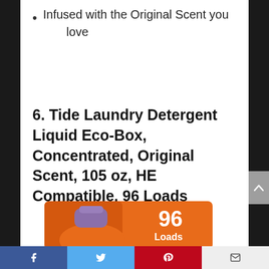Infused with the Original Scent you love
6. Tide Laundry Detergent Liquid Eco-Box, Concentrated, Original Scent, 105 oz, HE Compatible, 96 Loads
[Figure (photo): Tide Laundry Detergent Liquid Eco-Box product image — orange box with orange bottle showing '96 Loads' in white text on an orange background]
Facebook | Twitter | Pinterest | Email social share bar